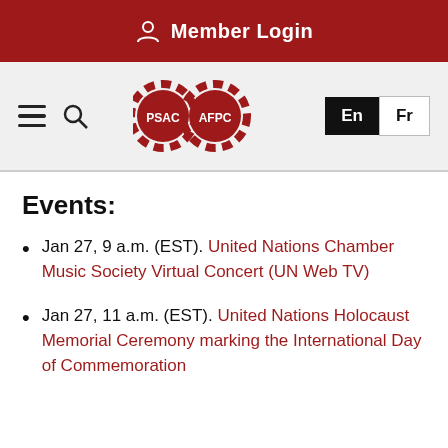Member Login
[Figure (logo): PSAC AFPC interlocking gear logo with hamburger menu, search icon, and language toggle buttons (En / Fr)]
Events:
Jan 27, 9 a.m. (EST). United Nations Chamber Music Society Virtual Concert (UN Web TV)
Jan 27, 11 a.m. (EST). United Nations Holocaust Memorial Ceremony marking the International Day of Commemoration